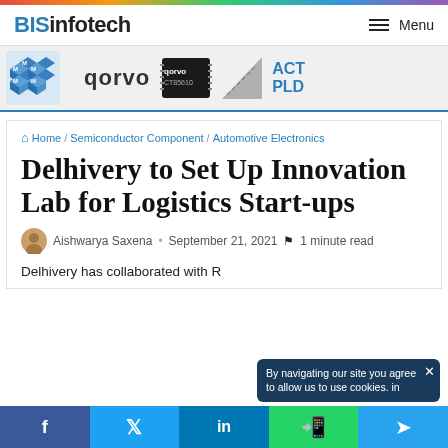BISinfotech — Menu
[Figure (screenshot): Advertisement banner showing logos: Matr logos, Qorvo wordmark, Qorvo chip component, ACT PLD]
Home / Semiconductor Component / Automotive Electronics
Delhivery to Set Up Innovation Lab for Logistics Start-ups
Aishwarya Saxena · September 21, 2021 · 1 minute read
Delhivery has collaborated with R...
By navigating our site you agree to allow us to use cookies. in
f  y  in  (WhatsApp)  (Telegram)